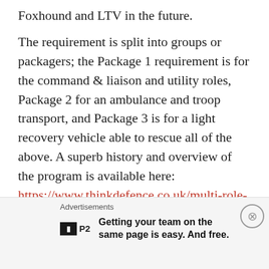Foxhound and LTV in the future.
The requirement is split into groups or packagers; the Package 1 requirement is for the command & liaison and utility roles, Package 2 for an ambulance and troop transport, and Package 3 is for a light recovery vehicle able to rescue all of the above. A superb history and overview of the program is available here: https://www.thinkdefence.co.uk/multi-role-vehicle-protected/
The intention was to fulfill the requirement by competition, but the rumour mill has the
Advertisements
Getting your team on the same page is easy. And free.